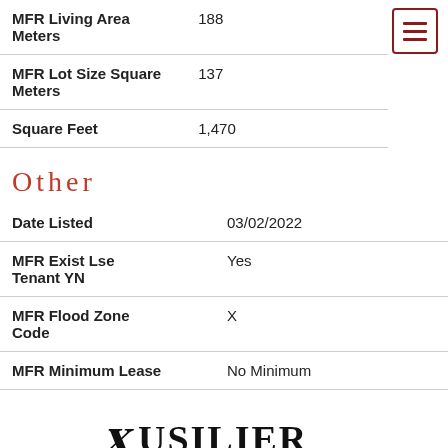| Field | Value |
| --- | --- |
| MFR Living Area Meters | 188 |
| MFR Lot Size Square Meters | 137 |
| Square Feet | 1,470 |
Other
| Field | Value |
| --- | --- |
| Date Listed | 03/02/2022 |
| MFR Exist Lse Tenant YN | Yes |
| MFR Flood Zone Code | X |
| MFR Minimum Lease | No Minimum |
[Figure (logo): Fusilier company logo with decorative script lettering]